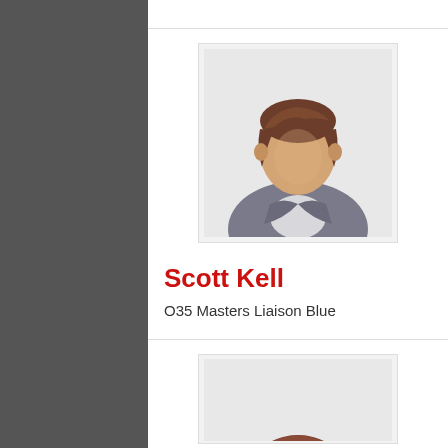[Figure (illustration): Generic male user avatar icon with brown hair and grey suit jacket, displayed in a light grey bordered box]
Scott Kell
O35 Masters Liaison Blue
[Figure (illustration): Generic male user avatar icon with brown hair, partially visible at the bottom of the page, in a light grey bordered box]